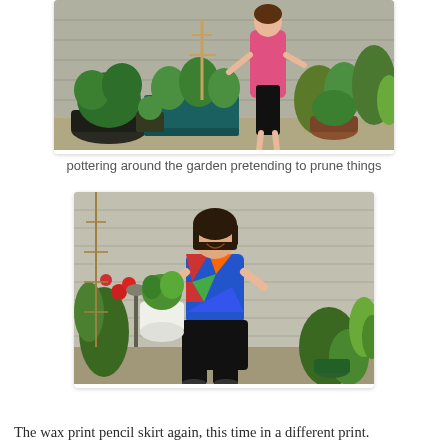[Figure (photo): A woman in a colorful print top and dark skirt standing in a lush garden with various potted plants, trellises, and a brick wall behind her.]
pottering around the garden pretending to prune things
[Figure (photo): A smiling woman with a short dark bob haircut wearing a colorful geometric print top and black culottes, holding a white pot with a plant, standing in a garden with a brick wall background.]
The wax print pencil skirt again, this time in a different print.